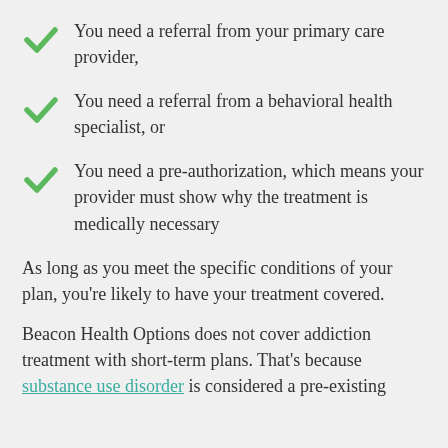You need a referral from your primary care provider,
You need a referral from a behavioral health specialist, or
You need a pre-authorization, which means your provider must show why the treatment is medically necessary
As long as you meet the specific conditions of your plan, you're likely to have your treatment covered.
Beacon Health Options does not cover addiction treatment with short-term plans. That's because substance use disorder is considered a pre-existing